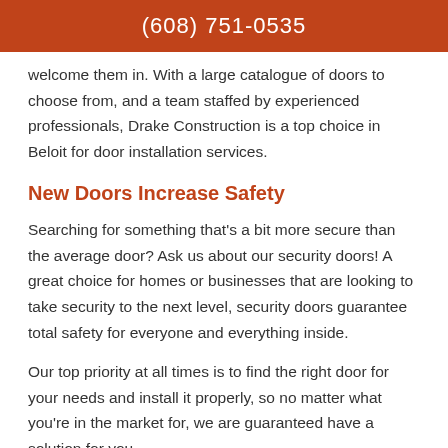(608) 751-0535
welcome them in. With a large catalogue of doors to choose from, and a team staffed by experienced professionals, Drake Construction is a top choice in Beloit for door installation services.
New Doors Increase Safety
Searching for something that’s a bit more secure than the average door? Ask us about our security doors! A great choice for homes or businesses that are looking to take security to the next level, security doors guarantee total safety for everyone and everything inside.
Our top priority at all times is to find the right door for your needs and install it properly, so no matter what you’re in the market for, we are guaranteed have a solution for you.